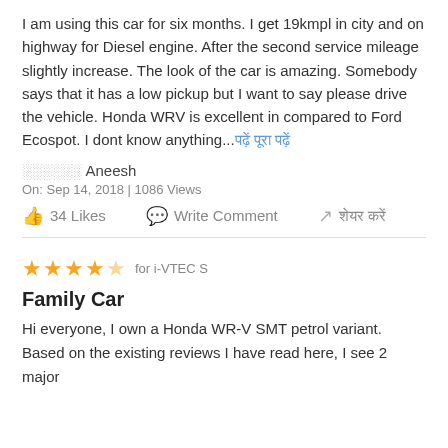I am using this car for six months. I get 19kmpl in city and on highway for Diesel engine. After the second service mileage slightly increase. The look of the car is amazing. Somebody says that it has a low pickup but I want to say please drive the vehicle. Honda WRV is excellent in compared to Ford Ecospot. I dont know anything...पढ़ें पूरा पढ़ें
░░░░░░ Aneesh
On: Sep 14, 2018 | 1086 Views
34 Likes   Write Comment   शेयर करें
★★★★☆ for i-VTEC S
Family Car
Hi everyone, I own a Honda WR-V SMT petrol variant. Based on the existing reviews I have read here, I see 2 major